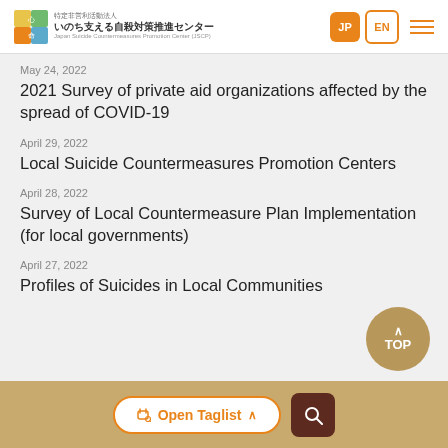いのち支える自殺対策推進センター / Japan Suicide Countermeasures Promotion Center (JSCP)
May 24, 2022
2021 Survey of private aid organizations affected by the spread of COVID-19
April 29, 2022
Local Suicide Countermeasures Promotion Centers
April 28, 2022
Survey of Local Countermeasure Plan Implementation (for local governments)
April 27, 2022
Profiles of Suicides in Local Communities
Open Taglist